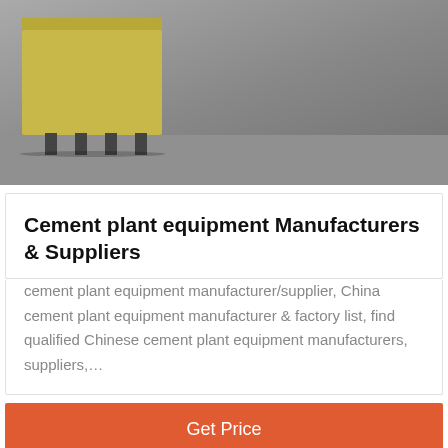[Figure (photo): Industrial cement plant equipment, a large yellow/beige machine on a gray concrete floor in a factory setting]
Cement plant equipment Manufacturers & Suppliers
cement plant equipment manufacturer/supplier, China cement plant equipment manufacturer & factory list, find qualified Chinese cement plant equipment manufacturers, suppliers,…
Get Price
[Figure (photo): Industrial machinery with yellow rollers on left and steel structures/factory building on right]
Leave Message
Chat Online